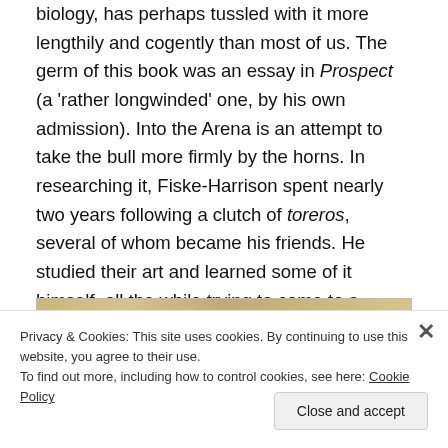biology, has perhaps tussled with it more lengthily and cogently than most of us. The germ of this book was an essay in Prospect (a 'rather longwinded' one, by his own admission). Into the Arena is an attempt to take the bull more firmly by the horns. In researching it, Fiske-Harrison spent nearly two years following a clutch of toreros, several of whom became his friends. He studied their art and learned some of it himself, all the while trying to come to a decision about the morality of a sport that is also an art form.
[Figure (photo): Top edge of a book or image strip with a sandy/golden textured surface]
Privacy & Cookies: This site uses cookies. By continuing to use this website, you agree to their use.
To find out more, including how to control cookies, see here: Cookie Policy